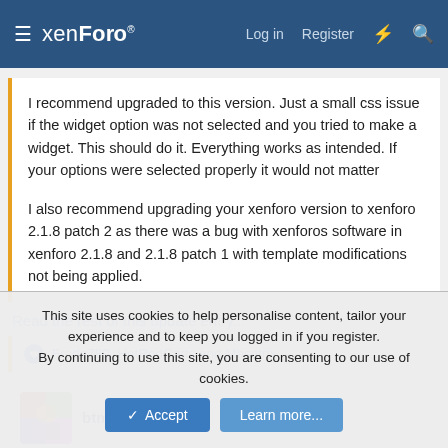xenForo — Log in Register
I recommend upgraded to this version. Just a small css issue if the widget option was not selected and you tried to make a widget. This should do it. Everything works as intended. If your options were selected properly it would not matter

I also recommend upgrading your xenforo version to xenforo 2.1.8 patch 2 as there was a bug with xenforos software in xenforo 2.1.8 and 2.1.8 patch 1 with template modifications not being applied.
Read the rest of this update entry...
Frode789, HotRodCarts and Masetrix
btmarea
This site uses cookies to help personalise content, tailor your experience and to keep you logged in if you register.
By continuing to use this site, you are consenting to our use of cookies.